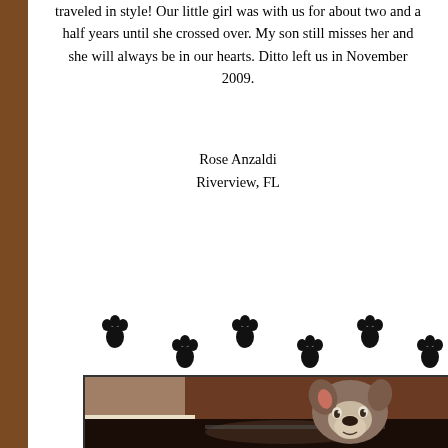traveled in style! Our little girl was with us for about two and a half years until she crossed over. My son still misses her and she will always be in our hearts. Ditto left us in November 2009.
Rose Anzaldi
Riverview, FL
[Figure (illustration): Paw print decorative divider icons arranged in a walking pattern]
[Figure (photo): Photo of a dog, appearing to be a boxer or similar breed, looking up at the camera. The dog is inside what appears to be a home setting with warm brown tones in the background.]